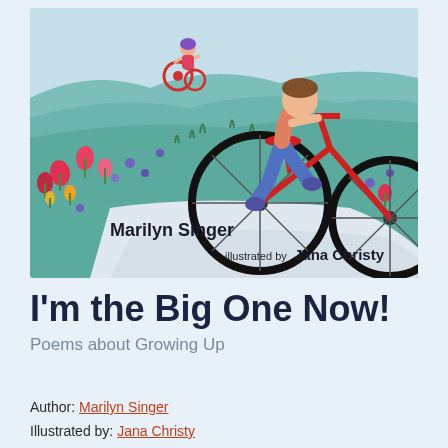[Figure (illustration): Book cover illustration showing children riding bicycles on a path with colorful tulips and flowers in the foreground. One child on a large red bicycle is shown close-up, another child on a small red tricycle is in the background. The scene has a whimsical, painted style with teal/blue-green grass and pink/red flowers. Text on the cover reads 'Marilyn Singer' and 'illustrated by Jana Christy'.]
I'm the Big One Now!
Poems about Growing Up
Author: Marilyn Singer
Illustrated by: Jana Christy